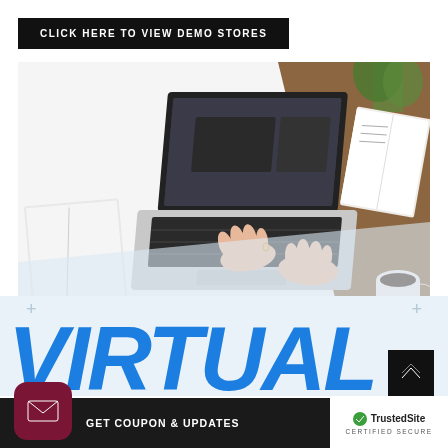CLICK HERE TO VIEW DEMO STORES
[Figure (photo): Overhead view of a person typing on a MacBook laptop on a white desk, with a notebook, plant, open book, and coffee cup visible]
VIRTUAL
[Figure (illustration): Email icon (envelope) inside a dark red rounded-square button]
GET COUPON & UPDATES
[Figure (logo): TrustedSite Certified Secure badge with green checkmark]
[Figure (illustration): Up arrow chevron icon inside a black square button]